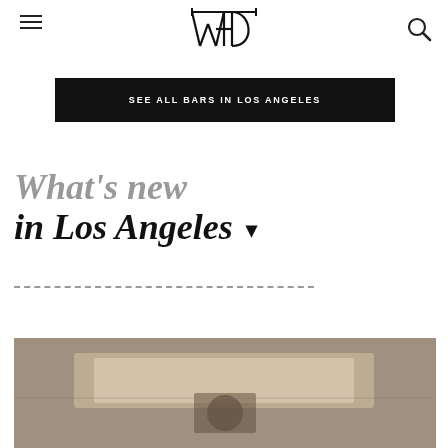WTB logo with hamburger menu and search icon
SEE ALL BARS IN LOS ANGELES
What's new in Los Angeles
[Figure (photo): Partial photo of a bar interior, dimly lit with warm tones, showing equipment or bar fixtures]